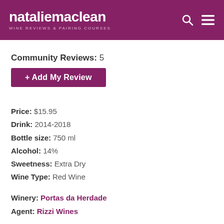nataliemaclean WINE REVIEWS & PAIRING COURSES
Community Reviews: 5
+ Add My Review
Price: $15.95
Drink: 2014-2018
Bottle size: 750 ml
Alcohol: 14%
Sweetness: Extra Dry
Wine Type: Red Wine
Winery: Portas da Herdade
Agent: Rizzi Wines
[Figure (illustration): Four action icons: heart with plus, shopping cart with plus, box/gift with plus, star with plus]